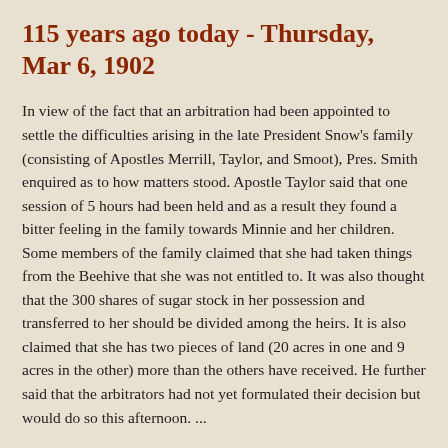115 years ago today - Thursday, Mar 6, 1902
In view of the fact that an arbitration had been appointed to settle the difficulties arising in the late President Snow's family (consisting of Apostles Merrill, Taylor, and Smoot), Pres. Smith enquired as to how matters stood. Apostle Taylor said that one session of 5 hours had been held and as a result they found a bitter feeling in the family towards Minnie and her children. Some members of the family claimed that she had taken things from the Beehive that she was not entitled to. It was also thought that the 300 shares of sugar stock in her possession and transferred to her should be divided among the heirs. It is also claimed that she has two pieces of land (20 acres in one and 9 acres in the other) more than the others have received. He further said that the arbitrators had not yet formulated their decision but would do so this afternoon. ...
[Source: Stan Larson (editor), A Ministry of Meetings: The Apostolic diaries of Rudger Clawson, Signature Books in association with Smith Research Associates, Salt Lake City, 1993,